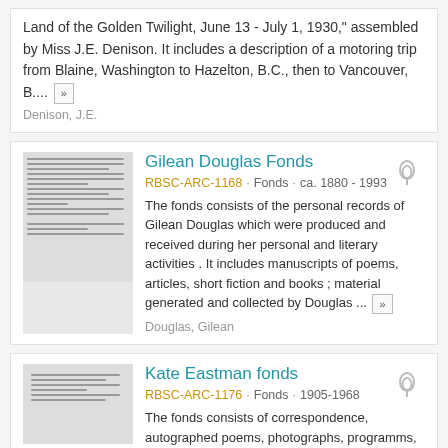Land of the Golden Twilight, June 13 - July 1, 1930," assembled by Miss J.E. Denison. It includes a description of a motoring trip from Blaine, Washington to Hazelton, B.C., then to Vancouver, B....
Denison, J.E.
Gilean Douglas Fonds
RBSC-ARC-1168 · Fonds · ca. 1880 - 1993
The fonds consists of the personal records of Gilean Douglas which were produced and received during her personal and literary activities . It includes manuscripts of poems, articles, short fiction and books ; material generated and collected by Douglas ...
Douglas, Gilean
Kate Eastman fonds
RBSC-ARC-1176 · Fonds · 1905-1968
The fonds consists of correspondence, autographed poems, photographs, programms, manuscripts, newspaper clippings, and other memorabilia of Eastman and of her friends (including Bliss Carman, George Fallis, Ernest